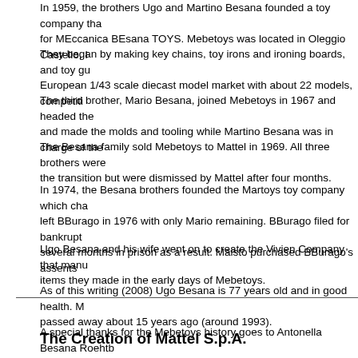In 1959, the brothers Ugo and Martino Besana founded a toy company that stood for MEccanica BEsana TOYS. Mebetoys was located in Oleggio Castello, I...
They began by making key chains, toy irons and ironing boards, and toy gu... European 1/43 scale diecast model market with about 22 models, competi...
The third brother, Mario Besana, joined Mebetoys in 1967 and headed the... and made the molds and tooling while Martino Besana was in charge of th...
The Besana family sold Mebetoys to Mattel in 1969. All three brothers were... the transition but were dismissed by Mattel after four months.
In 1974, the Besana brothers founded the Martoys toy company which cha... left BBurago in 1976 with only Mario remaining. BBurago filed for bankrupt... several months in prison as a result. Maisto purchased BBurago's assents...
Ugo Besana and his wife went on to create the Vivien Company that manu... items they made in the early days of Mebetoys.
As of this writing (2008) Ugo Besana is 77 years old and in good health. M... passed away about 15 years ago (around 1993).
A special thanks for the Mebetoys history goes to Antonella Besana Roehtb...
The Creation of Mattel S.p.A.